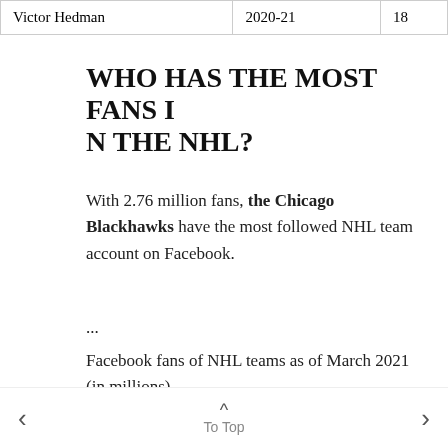| Victor Hedman | 2020-21 | 18 |
WHO HAS THE MOST FANS IN THE NHL?
With 2.76 million fans, the Chicago Blackhawks have the most followed NHL team account on Facebook.
...
Facebook fans of NHL teams as of March 2021 (in millions)
| Characteristic | Facebook fans in |
| --- | --- |
< To Top >